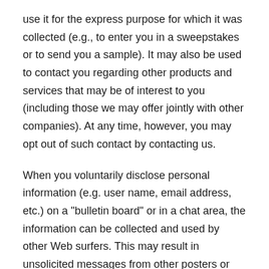use it for the express purpose for which it was collected (e.g., to enter you in a sweepstakes or to send you a sample). It may also be used to contact you regarding other products and services that may be of interest to you (including those we may offer jointly with other companies). At any time, however, you may opt out of such contact by contacting us.
When you voluntarily disclose personal information (e.g. user name, email address, etc.) on a "bulletin board" or in a chat area, the information can be collected and used by other Web surfers. This may result in unsolicited messages from other posters or parties.
If you send a friend an email from the site referring the friend to the site, the "referral" information you provide is used on a one-time basis to facilitate this communication and is not